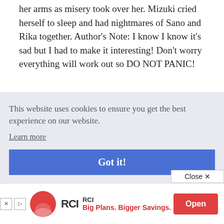her arms as misery took over her. Mizuki cried herself to sleep and had nightmares of Sano and Rika together. Author's Note: I know I know it's sad but I had to make it interesting! Don't worry everything will work out so DO NOT PANIC!
Leave a comment
[Figure (screenshot): Comment text area input box (empty), partially visible]
[Figure (screenshot): Cookie consent banner overlay with text 'This website uses cookies to ensure you get the best experience on our website.' with 'Learn more' link and 'Got it!' blue button]
[Figure (screenshot): RCI advertisement banner at bottom with logo, 'Big Plans. Bigger Savings.' tagline and 'Open' button]